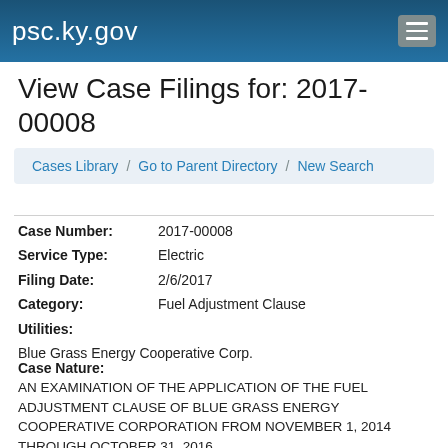psc.ky.gov
View Case Filings for: 2017-00008
Cases Library / Go to Parent Directory / New Search
Case Number: 2017-00008
Service Type: Electric
Filing Date: 2/6/2017
Category: Fuel Adjustment Clause
Utilities:
Blue Grass Energy Cooperative Corp.
Case Nature:
AN EXAMINATION OF THE APPLICATION OF THE FUEL ADJUSTMENT CLAUSE OF BLUE GRASS ENERGY COOPERATIVE CORPORATION FROM NOVEMBER 1, 2014 THROUGH OCTOBER 31, 2016